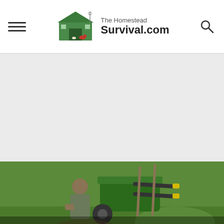The Homestead Survival.com
[Figure (screenshot): Large gray advertisement placeholder area]
[Figure (photo): Person working in garden with green wheelbarrow and garden tools, grassy background. Banner text reads: DIY Forms for Cement Garden Bed Panels that Link Together]
DIY Forms for Cement Garden Bed Panels that Link Together
[Figure (infographic): Tire store advertisement: Save Up To $110 On New Tires - Virginia Tire & Auto of Ashburn Fa. with Tire Auto logo and navigation arrow icon]